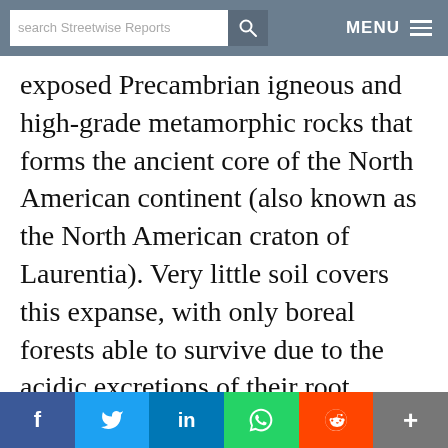search Streetwise Reports | MENU
exposed Precambrian igneous and high-grade metamorphic rocks that forms the ancient core of the North American continent (also known as the North American craton of Laurentia). Very little soil covers this expanse, with only boreal forests able to survive due to the acidic excretions of their root systems, which dissolve the rock creating nutrients and pathways for anchorage.
As impressive as this is, the structure is found everywhere in northern Georgian Bay—and also exists in the world of capital markets and
f | Twitter | in | WhatsApp | Reddit | +